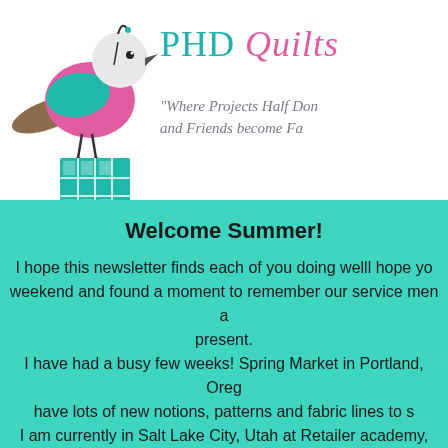[Figure (logo): PHD Quilts logo with a decorative bird (pink and teal) standing on a teal quilt block, alongside the text 'PHD Quilts' and tagline 'Where Projects Half Done and Friends become Fa[mily]']
Welcome Summer!
I hope this newsletter finds each of you doing welll hope you enjoyed the weekend and found a moment to remember our service men and women past and present. I have had a busy few weeks! Spring Market in Portland, Oreg[on]... have lots of new notions, patterns and fabric lines to s[hare]! I am currently in Salt Lake City, Utah at Retailer academy, lea[rning] and discovering my superpowers!